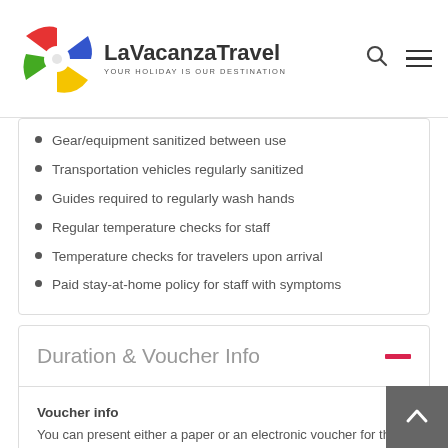LaVacanzaTravel — YOUR HOLIDAY IS OUR DESTINATION
Gear/equipment sanitized between use
Transportation vehicles regularly sanitized
Guides required to regularly wash hands
Regular temperature checks for staff
Temperature checks for travelers upon arrival
Paid stay-at-home policy for staff with symptoms
Duration & Voucher Info
Voucher info
You can present either a paper or an electronic voucher for this activity.
Duration
5 to 6 hours